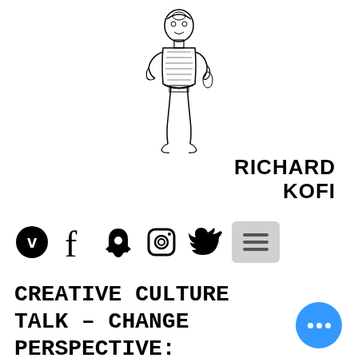[Figure (illustration): Black and white sketch illustration of a stylized African figurine/statue holding objects, drawn in a detailed line art style]
RICHARD KOFI
[Figure (infographic): Row of social media icons: Vimeo (circle V), Facebook (f), Snapchat (ghost), Instagram (camera), Twitter (bird), followed by a hamburger menu button]
CREATIVE CULTURE TALK – CHANGE PERSPECTIVE: TOWARDS AN